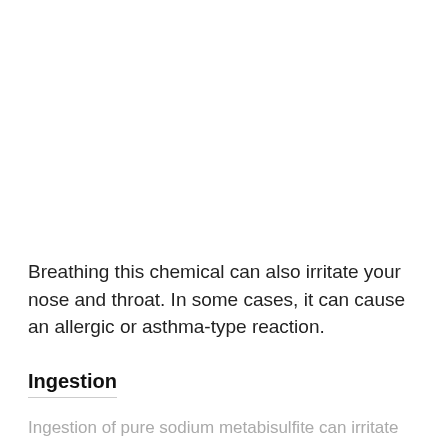Breathing this chemical can also irritate your nose and throat. In some cases, it can cause an allergic or asthma-type reaction.
Ingestion
Ingestion of pure sodium metabisulfite can irritate your